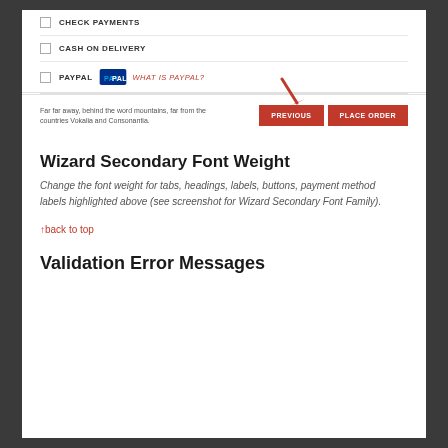[Figure (screenshot): Screenshot of a payment method selection form showing CHECK PAYMENTS, CASH ON DELIVERY, and PAYPAL options with radio buttons, a horizontal divider, placeholder text, and PREVIOUS and PLACE ORDER red buttons with a red arrow pointing to the PREVIOUS button]
Wizard Secondary Font Weight
Change the font weight for tabs, headings, labels, buttons, payment method labels highlighted above (see screenshot for Wizard Secondary Font Family).
↑back to top
Validation Error Messages